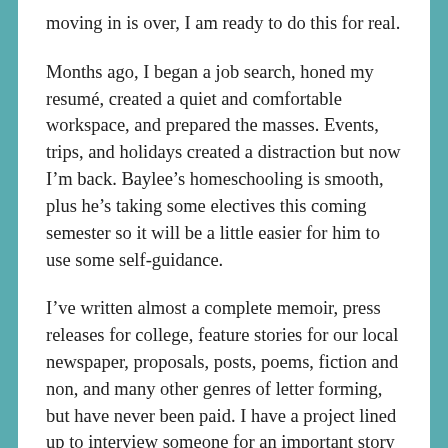moving in is over, I am ready to do this for real.
Months ago, I began a job search, honed my resumé, created a quiet and comfortable workspace, and prepared the masses. Events, trips, and holidays created a distraction but now I'm back. Baylee's homeschooling is smooth, plus he's taking some electives this coming semester so it will be a little easier for him to use some self-guidance.
I've written almost a complete memoir, press releases for college, feature stories for our local newspaper, proposals, posts, poems, fiction and non, and many other genres of letter forming, but have never been paid. I have a project lined up to interview someone for an important story so I will start there and see where it takes me. I am beyond excited about this new adventure!